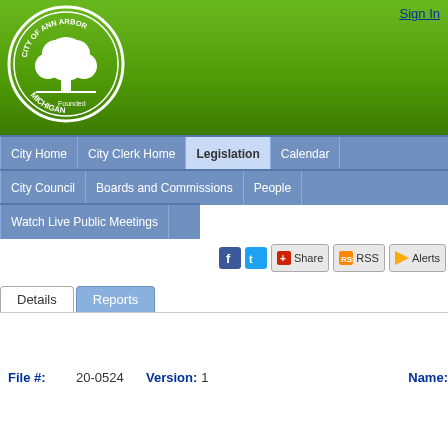[Figure (logo): City of Ann Arbor Michigan seal — white circle with tree design on green background]
Sign In
City Home | City Clerk Home | Legislation | Calendar
City Council | Boards and Commissions | People
Watch Live Public Meetings
Share | RSS | Alerts
Details   Reports
File #:  20-0524   Version: 1   Name: